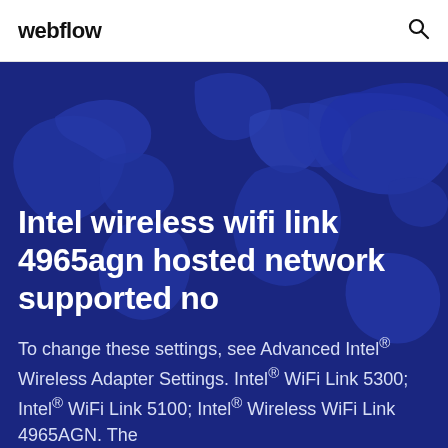webflow
[Figure (map): World map silhouette in dark navy blue tones used as hero background image]
Intel wireless wifi link 4965agn hosted network supported no
To change these settings, see Advanced Intel® Wireless Adapter Settings. Intel® WiFi Link 5300; Intel® WiFi Link 5100; Intel® Wireless WiFi Link 4965AGN. The